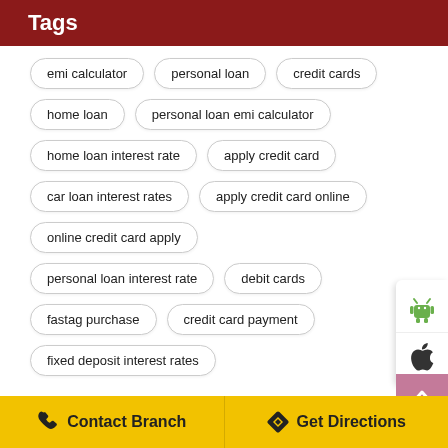Tags
emi calculator
personal loan
credit cards
home loan
personal loan emi calculator
home loan interest rate
apply credit card
car loan interest rates
apply credit card online
online credit card apply
personal loan interest rate
debit cards
fastag purchase
credit card payment
fixed deposit interest rates
Contact Branch   Get Directions